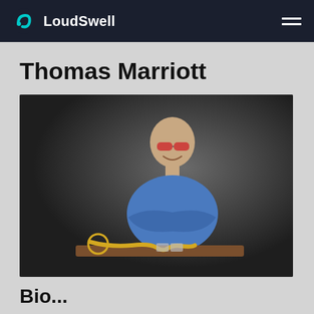LoudSwell
Thomas Marriott
[Figure (photo): Thomas Marriott, a bald man wearing red-tinted sunglasses and a blue shirt, smiling and leaning over a wooden surface with a trumpet in front of him.]
Bio...